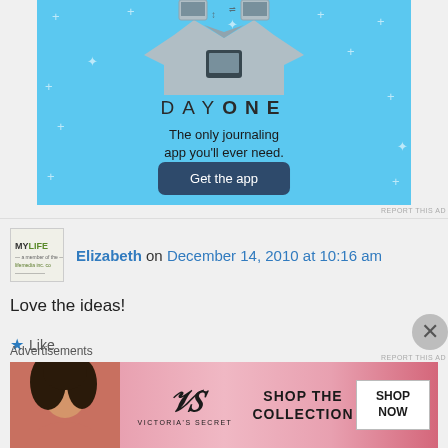[Figure (illustration): Day One journaling app advertisement on light blue background with shirt illustration, title 'DAY ONE', tagline 'The only journaling app you'll ever need.', and a 'Get the app' button]
Elizabeth on December 14, 2010 at 10:16 am
Love the ideas!
Like
👍 0 👎 1 ℹ Rate This
Advertisements
[Figure (photo): Victoria's Secret advertisement with woman, VS logo, 'SHOP THE COLLECTION' text, and 'SHOP NOW' button]